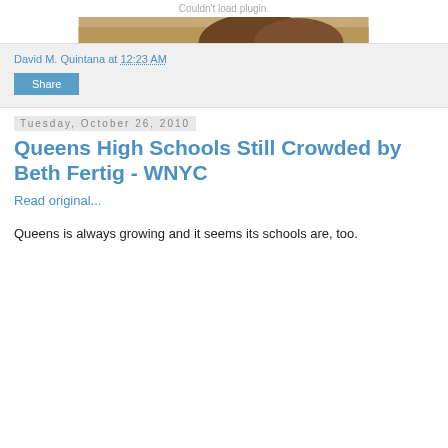Couldn't load plugin.
[Figure (photo): Partial photo strip showing top of a person's head with brown hair against a wooden/tan background]
David M. Quintana at 12:23 AM
Share
Tuesday, October 26, 2010
Queens High Schools Still Crowded by Beth Fertig - WNYC
Read original...
Queens is always growing and it seems its schools are, too.